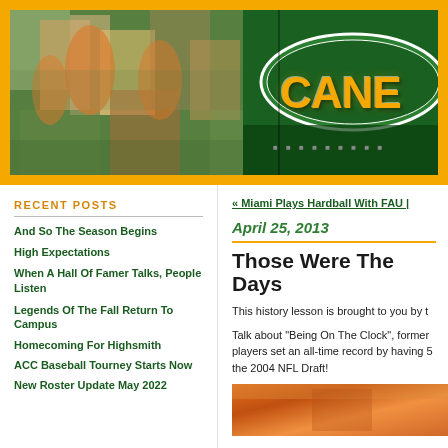[Figure (photo): Sports blog header banner with blurred football players on green field on left, and orange 'CANES' logo text on dark green background on right, surrounded by orange border]
RECENT POSTS
And So The Season Begins
High Expectations
When A Hall Of Famer Talks, People Listen
Legends Of The Fall Return To Campus
Homecoming For Highsmith
ACC Baseball Tourney Starts Now
New Roster Update May 2022
« Miami Plays Hardball With FAU |
April 25, 2013
Those Were The Days
This history lesson is brought to you by t
Talk about "Being On The Clock", former players set an all-time record by having 5 the 2004 NFL Draft!
[Figure (photo): Bottom portion of an article image showing orange/brown tones, likely a football or sports-related photo]